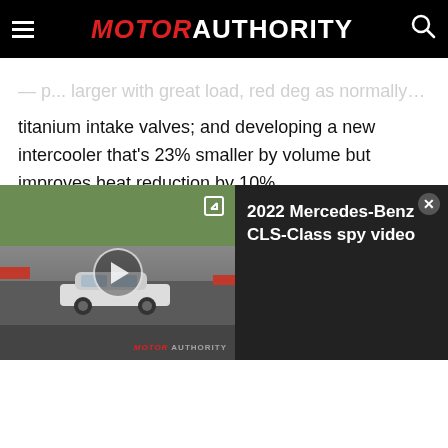MOTOR AUTHORITY
— p... larger with great load, red deg as normally run, including titanium intake valves; and developing a new intercooler that's 23% smaller by volume but improves heat reduction by 10%.
As I shot down the straights, the engine's guttural roar built to a
[Figure (screenshot): Video player overlay showing a white car on a race track (Nürburgring), with a play button. Title panel reads: 2022 Mercedes-Benz CLS-Class spy video]